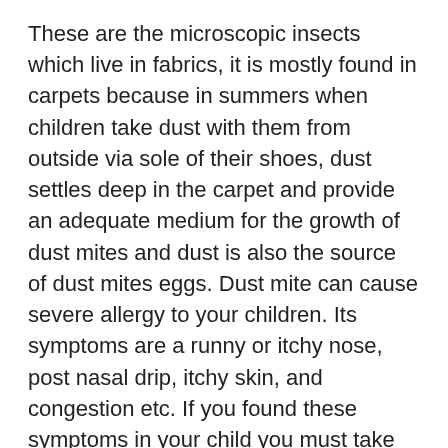These are the microscopic insects which live in fabrics, it is mostly found in carpets because in summers when children take dust with them from outside via sole of their shoes, dust settles deep in the carpet and provide an adequate medium for the growth of dust mites and dust is also the source of dust mites eggs. Dust mite can cause severe allergy to your children. Its symptoms are a runny or itchy nose, post nasal drip, itchy skin, and congestion etc. If you found these symptoms in your child you must take immediate action against dust mite
You can get rid of dust mites by cleaning carpet with a damp cloth and using vacuum cleaning. But the proper and effective way to get rid of dust mites is washing the whole carpet with hot water which is not possible at home in this case you have to consult a professional carpet cleaner.